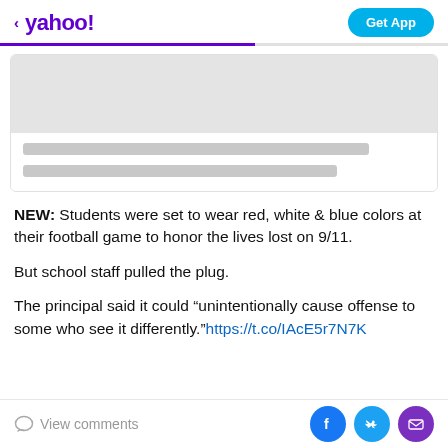< yahoo! | Get App
[Figure (screenshot): Loading card placeholder with grey image area and two grey text line skeletons]
NEW: Students were set to wear red, white & blue colors at their football game to honor the lives lost on 9/11.
But school staff pulled the plug.
The principal said it could “unintentionally cause offense to some who see it differently.”https://t.co/IAcE5r7N7K
View comments | Facebook | Twitter | Email